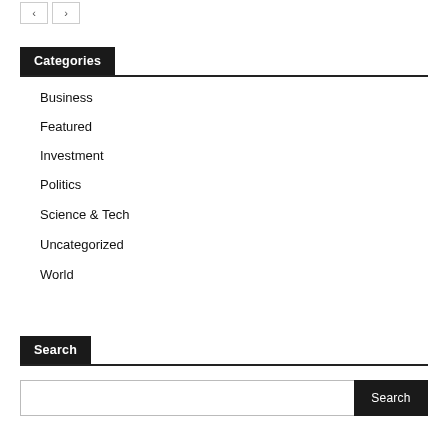Categories
Business
Featured
Investment
Politics
Science & Tech
Uncategorized
World
Search
Search